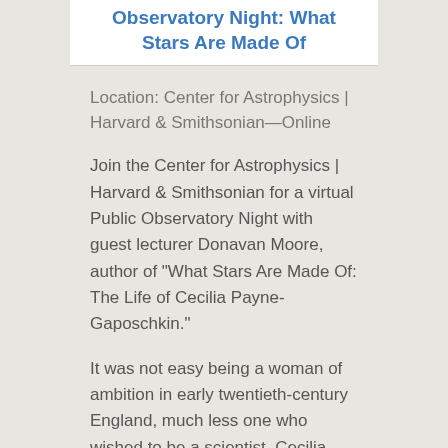Observatory Night: What Stars Are Made Of
Location: Center for Astrophysics | Harvard & Smithsonian—Online
Join the Center for Astrophysics | Harvard & Smithsonian for a virtual Public Observatory Night with guest lecturer Donavan Moore, author of "What Stars Are Made Of: The Life of Cecilia Payne-Gaposchkin."
It was not easy being a woman of ambition in early twentieth-century England, much less one who wished to be a scientist. Cecilia Payne-